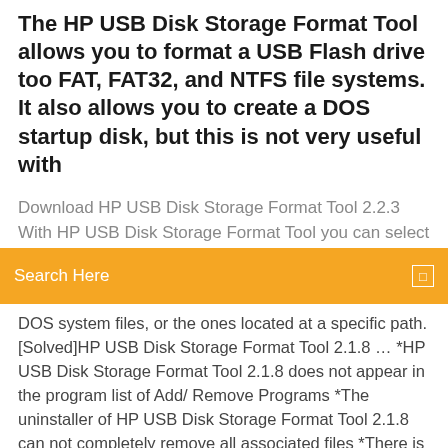The HP USB Disk Storage Format Tool allows you to format a USB Flash drive too FAT, FAT32, and NTFS file systems. It also allows you to create a DOS startup disk, but this is not very useful with
Download HP USB Disk Storage Format Tool 2.2.3 With HP USB Disk Storage Format Tool you can select the device which you
Search Here
DOS system files, or the ones located at a specific path. [Solved]HP USB Disk Storage Format Tool 2.1.8 … *HP USB Disk Storage Format Tool 2.1.8 does not appear in the program list of Add/ Remove Programs *The uninstaller of HP USB Disk Storage Format Tool 2.1.8 can not completely remove all associated files *There is some software that is not compatible with HP USB Disk Storage Format Tool 2.1.8 *There are many remnants left in the registry and hard drive *The .dll, .sys or other files shared Скачать HP USB Disk Storage Format Tool /OCE… HP USB Disk Storage Format Tool скачать бесплатно